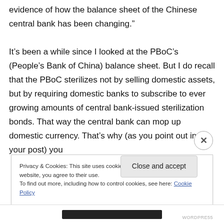evidence of how the balance sheet of the Chinese central bank has been changing."

It’s been a while since I looked at the PBoC’s (People’s Bank of China) balance sheet. But I do recall that the PBoC sterilizes not by selling domestic assets, but by requiring domestic banks to subscribe to ever growing amounts of central bank-issued sterilization bonds. That way the central bank can mop up domestic currency. That’s why (as you point out in your post) you
Privacy & Cookies: This site uses cookies. By continuing to use this website, you agree to their use.
To find out more, including how to control cookies, see here: Cookie Policy
Close and accept